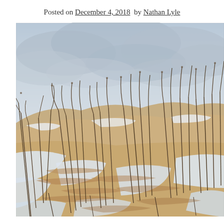Posted on December 4, 2018  by Nathan Lyle
[Figure (photo): A winter coastal dune scene with tall dry grasses bending in the wind against a cloudy grey sky. Sandy dunes show swirling patterns where patches of snow mix with tan sand. Sparse dead vegetation is scattered throughout the scene.]